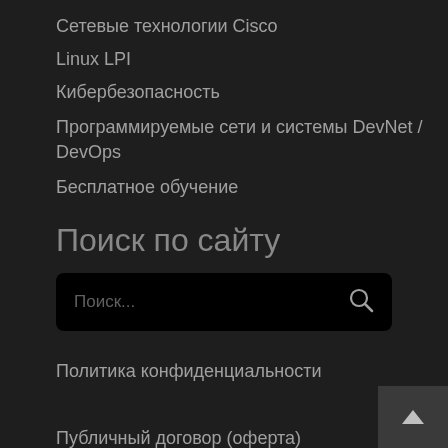Сетевые технологии Cisco
Linux LPI
Кибербезопасность
Программируемые сети и системы DevNet / DevOps
Бесплатное обучение
Поиск по сайту
Поиск...
Политика конфиденциальности
Публичный договор (оферта)